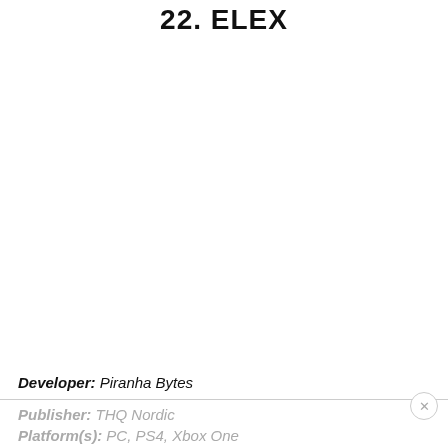22. ELEX
Developer: Piranha Bytes
Publisher: THQ Nordic
Platform(s): PC, PS4, Xbox One